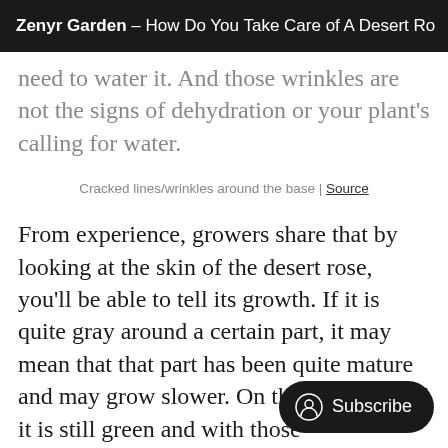Zenyr Garden – How Do You Take Care of A Desert Ro
need to water it. And those wrinkles are not the signs of dehydration or your plant's calling for water.
Cracked lines/wrinkles around the base | Source
From experience, growers share that by looking at the skin of the desert rose, you'll be able to tell its growth. If it is quite gray around a certain part, it may mean that that part has been quite mature and may grow slower. On the other side, if it is still green and with those